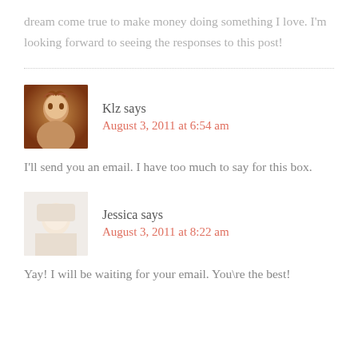dream come true to make money doing something I love. I'm looking forward to seeing the responses to this post!
Klz says
August 3, 2011 at 6:54 am
I'll send you an email. I have too much to say for this box.
Jessica says
August 3, 2011 at 8:22 am
Yay! I will be waiting for your email. You\re the best!